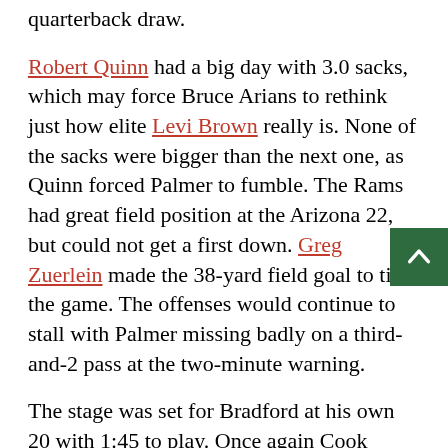quarterback draw.
Robert Quinn had a big day with 3.0 sacks, which may force Bruce Arians to rethink just how elite Levi Brown really is. None of the sacks were bigger than the next one, as Quinn forced Palmer to fumble. The Rams had great field position at the Arizona 22, but could not get a first down. Greg Zuerlein made the 38-yard field goal to tie the game. The offenses would continue to stall with Palmer missing badly on a third-and-2 pass at the two-minute warning.
The stage was set for Bradford at his own 20 with 1:45 to play. Once again Cook made the key play with a 25-yard catch. However, the Rams ran a t[rapped] play on third-and-1 -- you know, instead of the quarterback sneak that likely would have converted and allowed the Rams to run down the clock -- and lost two yards. Zuerlein came through